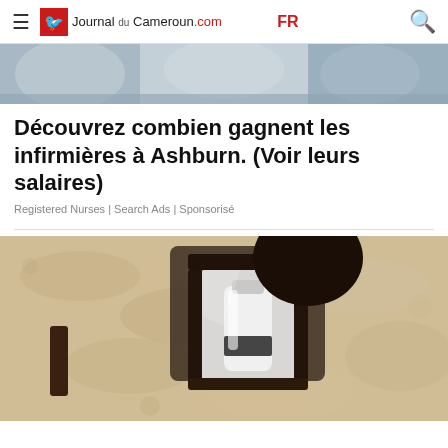Journal du Cameroun.com | FR
[Figure (photo): Partial top banner photo showing people in background, cropped]
Découvrez combien gagnent les infirmières à Ashburn. (Voir leurs salaires)
Registered Nurses | Search Ads | Sponsorisé
[Figure (photo): Close-up photo of an outdoor wall lamp/lantern mounted on a textured stone wall, with a white bottle inside the fixture]